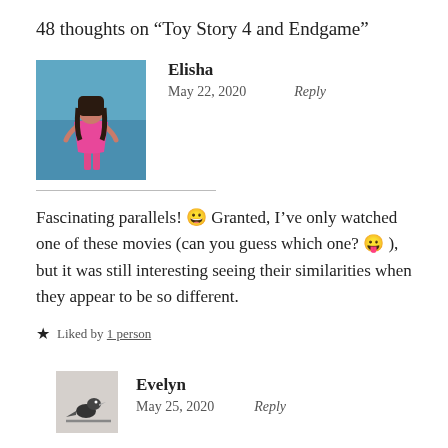48 thoughts on “Toy Story 4 and Endgame”
Elisha
May 22, 2020   Reply
Fascinating parallels! 😀 Granted, I’ve only watched one of these movies (can you guess which one? 😛 ), but it was still interesting seeing their similarities when they appear to be so different.
★ Liked by 1person
Evelyn
May 25, 2020   Reply